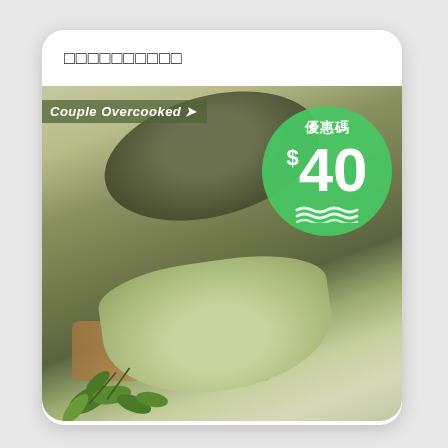□□□□□□□□□□
[Figure (photo): Product advertisement card showing green cooking pans (a light green wok and dark green frying pan) with fresh herbs on a wooden board. Brand name 'Couple Overcooked' shown on upper left of image. A green circular discount badge shows '優惠碼 $40' with wave decoration.]